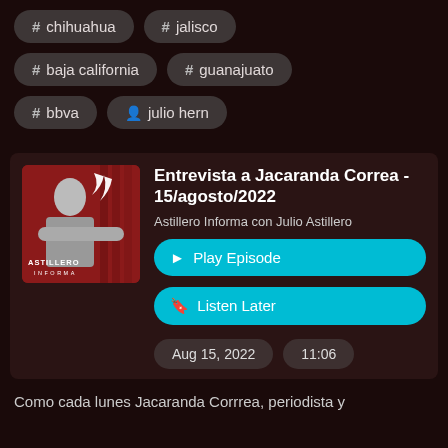# chihuahua  # jalisco
# baja california  # guanajuato
# bbva   julio hern
Entrevista a Jacaranda Correa - 15/agosto/2022
Astillero Informa con Julio Astillero
▶ Play Episode
☐ Listen Later
Aug 15, 2022   11:06
Como cada lunes Jacaranda Corrrea, periodista y